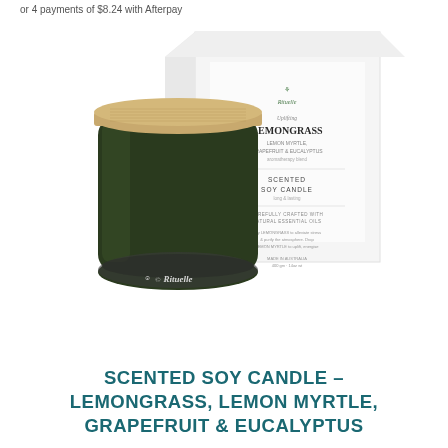or 4 payments of $8.24 with Afterpay
[Figure (photo): Product photo of a dark green glass soy candle jar with a bamboo lid and the Urban Rituelle logo, shown alongside its white retail packaging box labeled 'Uplifting Lemongrass Lemon Myrtle, Grapefruit & Eucalyptus Scented Soy Candle' made in Australia.]
SCENTED SOY CANDLE – LEMONGRASS, LEMON MYRTLE, GRAPEFRUIT & EUCALYPTUS